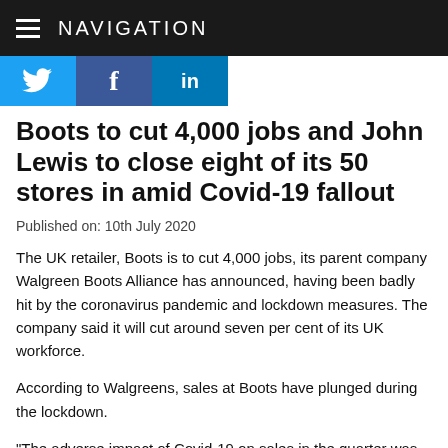NAVIGATION
[Figure (other): Social media share buttons: Twitter, Facebook, LinkedIn]
Boots to cut 4,000 jobs and John Lewis to close eight of its 50 stores in amid Covid-19 fallout
Published on: 10th July 2020
The UK retailer, Boots is to cut 4,000 jobs, its parent company Walgreen Boots Alliance has announced, having been badly hit by the coronavirus pandemic and lockdown measures. The company said it will cut around seven per cent of its UK workforce.
According to Walgreens, sales at Boots have plunged during the lockdown.
“The adverse impact of Covid-19 on sales in the quarter was approximately $700 million to $750 million, with the majority of the impact related to the Retail Pharmacy International division,” the